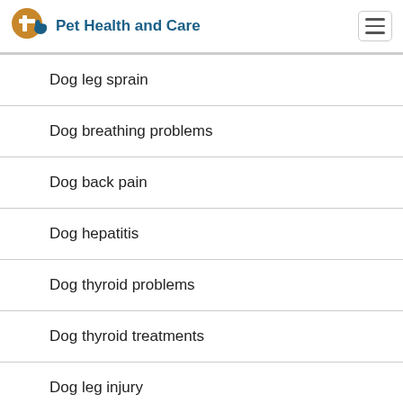Pet Health and Care
Dog leg sprain
Dog breathing problems
Dog back pain
Dog hepatitis
Dog thyroid problems
Dog thyroid treatments
Dog leg injury